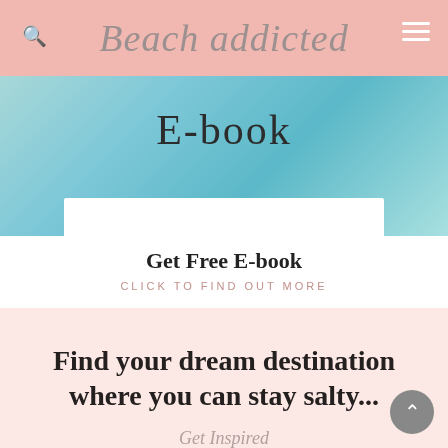Beach addicted
[Figure (photo): Swimming pool / ocean water with light teal-blue color and light reflections, with 'E-book' text overlaid and a white block at the bottom]
Get Free E-book
CLICK TO FIND OUT MORE
Find your dream destination where you can stay salty...
Get Inspired